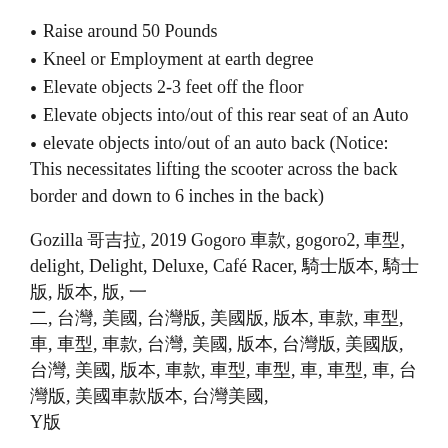Raise around 50 Pounds
Kneel or Employment at earth degree
Elevate objects 2-3 feet off the floor
Elevate objects into/out of this rear seat of an Auto
elevate objects into/out of an auto back (Notice: This necessitates lifting the scooter across the back border and down to 6 inches in the back)
Gozilla 哥吉拉, 2019 Gogoro 車款, gogoro2, 車型, delight, Delight, Deluxe, Café Racer, 騎士版本, 騎士版, 版本, 版, 一 二, 台灣, 美國, 台灣版, 美國版, 版本, 車款, 車型, 車, 車型, 車款, 台灣, 美國, 版本, 台灣版, 美國版, 版, 台灣, 美國, 版本, 車款, 車型, Y版